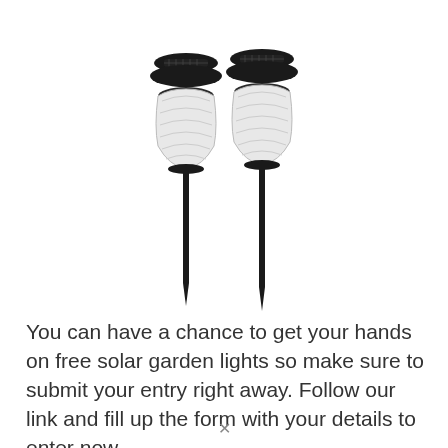[Figure (photo): Two black solar garden stake lights side by side, with transparent ribbed globe shades and pointed ground stakes]
You can have a chance to get your hands on free solar garden lights so make sure to submit your entry right away. Follow our link and fill up the form with your details to enter now.